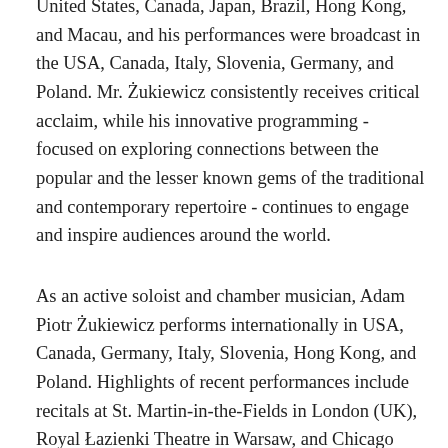United States, Canada, Japan, Brazil, Hong Kong, and Macau, and his performances were broadcast in the USA, Canada, Italy, Slovenia, Germany, and Poland. Mr. Żukiewicz consistently receives critical acclaim, while his innovative programming - focused on exploring connections between the popular and the lesser known gems of the traditional and contemporary repertoire - continues to engage and inspire audiences around the world.
As an active soloist and chamber musician, Adam Piotr Żukiewicz performs internationally in USA, Canada, Germany, Italy, Slovenia, Hong Kong, and Poland. Highlights of recent performances include recitals at St. Martin-in-the-Fields in London (UK), Royal Łazienki Theatre in Warsaw, and Chicago Cultural Center (Dame Myra Hess Memorial Concert Series), concerts with the Greeley Chamber Orchestra, Edmonton Symphony Orchestra, Toronto Sinfonietta, Toronto Concert Orchestra, and Celebrity Symphony Orchestra. Mr. Żukiewicz has performed in some of the most important concert venues...